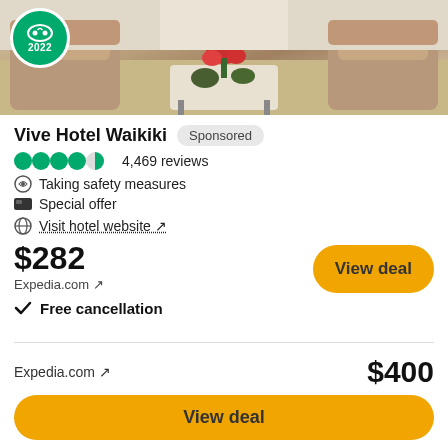[Figure (photo): Hotel lobby interior photo with beige/tan chairs and a coffee table with red flowers]
Vive Hotel Waikiki
Sponsored
4,469 reviews
Taking safety measures
Special offer
Visit hotel website ↗
$282
Expedia.com ↗
✓ Free cancellation
View deal
View all 15 deals from $245
[Figure (photo): Hotel exterior at night with lit building facade against purple sky]
Expedia.com ↗
$400
View deal